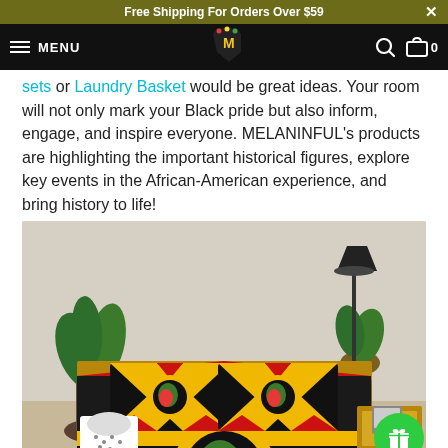Free Shipping For Orders Over $59
MENU  [logo]  [search] [cart] 0
sets or Laundry Basket would be great ideas. Your room will not only mark your Black pride but also inform, engage, and inspire everyone. MELANINFUL's products are highlighting the important historical figures, explore key events in the African-American experience, and bring history to life!
[Figure (photo): A bedroom scene showing a bed with Pan-African themed bedding set. The comforter and pillow cases feature bold black, red, yellow (gold), and green colors with Africa map motifs on circular emblems. The room has plants, a lamp, and a wooden nightstand.]